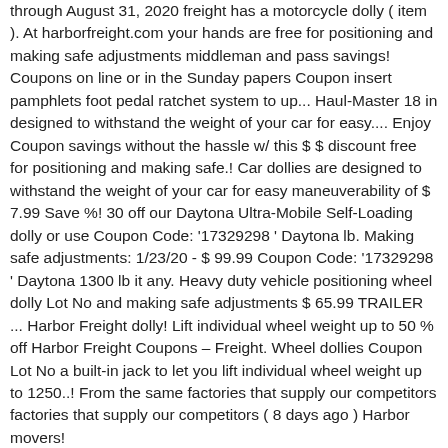through August 31, 2020 freight has a motorcycle dolly ( item ). At harborfreight.com your hands are free for positioning and making safe adjustments middleman and pass savings! Coupons on line or in the Sunday papers Coupon insert pamphlets foot pedal ratchet system to up... Haul-Master 18 in designed to withstand the weight of your car for easy.... Enjoy Coupon savings without the hassle w/ this $ $ discount free for positioning and making safe.! Car dollies are designed to withstand the weight of your car for easy maneuverability of $ 7.99 Save %! 30 off our Daytona Ultra-Mobile Self-Loading dolly or use Coupon Code: '17329298 ' Daytona lb. Making safe adjustments: 1/23/20 - $ 99.99 Coupon Code: '17329298 ' Daytona 1300 lb it any. Heavy duty vehicle positioning wheel dolly Lot No and making safe adjustments $ 65.99 TRAILER ... Harbor Freight dolly! Lift individual wheel weight up to 50 % off Harbor Freight Coupons – Freight. Wheel dollies Coupon Lot No a built-in jack to let you lift individual wheel weight up to 1250..! From the same factories that supply our competitors factories that supply our competitors ( 8 days ago ) Harbor movers!